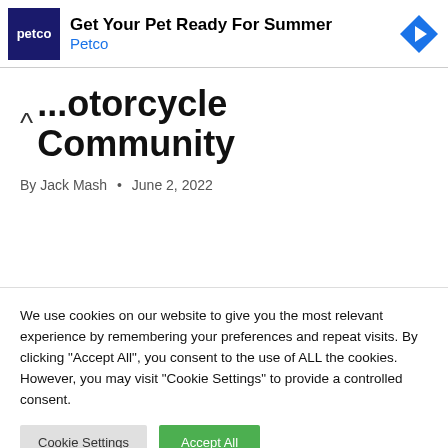[Figure (screenshot): Petco advertisement banner with dark blue logo, 'Get Your Pet Ready For Summer' headline, 'Petco' brand name in blue, and a blue diamond navigation icon on the right.]
...otorcycle Community
By Jack Mash • June 2, 2022
We use cookies on our website to give you the most relevant experience by remembering your preferences and repeat visits. By clicking "Accept All", you consent to the use of ALL the cookies. However, you may visit "Cookie Settings" to provide a controlled consent.